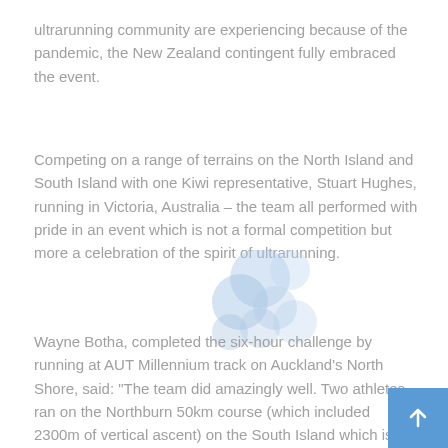ultrarunning community are experiencing because of the pandemic, the New Zealand contingent fully embraced the event.
Competing on a range of terrains on the North Island and South Island with one Kiwi representative, Stuart Hughes, running in Victoria, Australia – the team all performed with pride in an event which is not a formal competition but more a celebration of the spirit of ultrarunning.
[Figure (illustration): Decorative blue translucent dots/circles overlay on the text area]
Wayne Botha, completed the six-hour challenge by running at AUT Millennium track on Auckland's North Shore, said: "The team did amazingly well. Two athletes ran on the Northburn 50km course (which included 2300m of vertical ascent) on the South Island which is probably one of the toughest trail running tests in New Zealand.